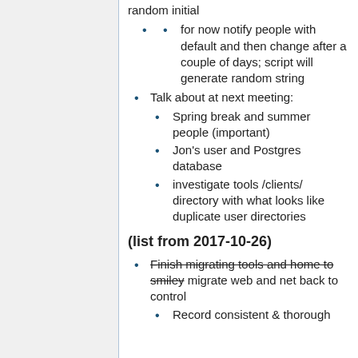random initial
for now notify people with default and then change after a couple of days; script will generate random string
Talk about at next meeting:
Spring break and summer people (important)
Jon's user and Postgres database
investigate tools /clients/ directory with what looks like duplicate user directories
(list from 2017-10-26)
Finish migrating tools and home to smiley migrate web and net back to control
Record consistent & thorough